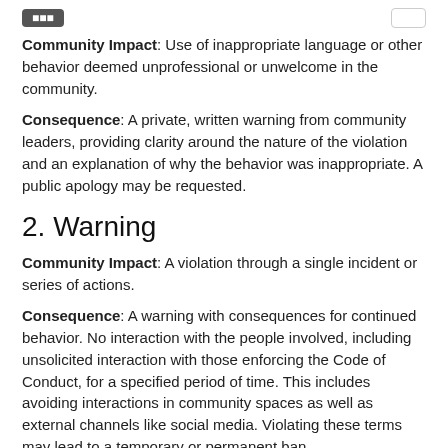Community Impact: Use of inappropriate language or other behavior deemed unprofessional or unwelcome in the community.
Consequence: A private, written warning from community leaders, providing clarity around the nature of the violation and an explanation of why the behavior was inappropriate. A public apology may be requested.
2. Warning
Community Impact: A violation through a single incident or series of actions.
Consequence: A warning with consequences for continued behavior. No interaction with the people involved, including unsolicited interaction with those enforcing the Code of Conduct, for a specified period of time. This includes avoiding interactions in community spaces as well as external channels like social media. Violating these terms may lead to a temporary or permanent ban.
3. Temporary Ban